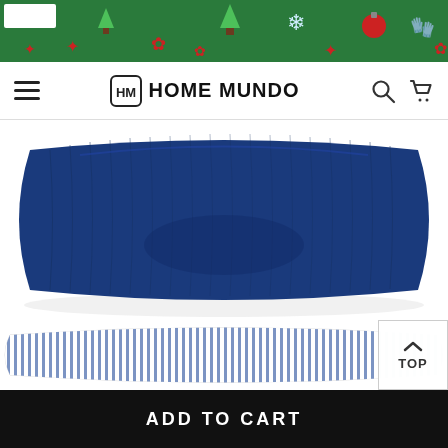[Figure (screenshot): Christmas-themed banner with green background, decorative holiday icons (trees, snowflakes, ornaments, mittens, holly) and a small white rectangle in top-left corner]
HOME MUNDO
[Figure (photo): Blue corduroy/velvet rectangular decorative pillow photographed against white background, showing texture and slight indentation]
[Figure (photo): White and blue striped rectangular decorative pillow partially visible at bottom]
TOP
ADD TO CART